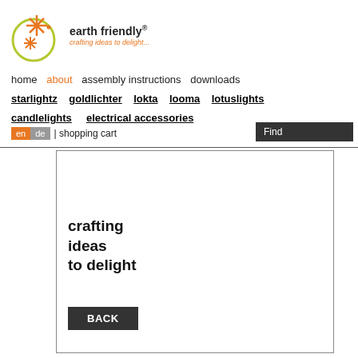[Figure (logo): Earth friendly logo: olive/yellow-green circle with orange star/asterisk shapes, brand name 'earth friendly®' and tagline 'crafting ideas to delight...']
home  about  assembly instructions  downloads
starlightz  goldlichter  lokta  looma  lotuslights
candlelights  electrical accessories
en  de  | shopping cart  Find
crafting ideas to delight
BACK